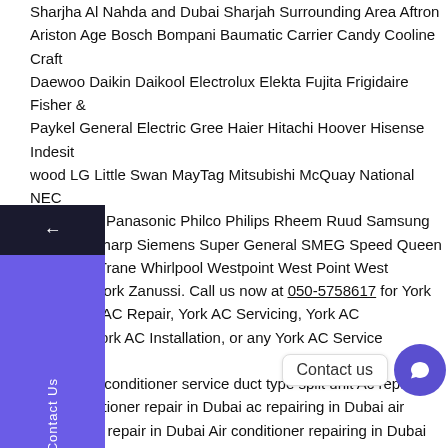Sharjha Al Nahda and Dubai Sharjah Surrounding Area Aftron Ariston Age Bosch Bompani Baumatic Carrier Candy Cooline Craft Daewoo Daikin Daikool Electrolux Elekta Fujita Frigidaire Fisher & Paykel General Electric Gree Haier Hitachi Hoover Hisense Indesit wood LG Little Swan MayTag Mitsubishi McQuay National NEC O'General Panasonic Philco Philips Rheem Ruud Samsung o Sansui Sharp Siemens Super General SMEG Speed Queen a Toshiba Trane Whirlpool Westpoint West Point West inghouse York Zanussi. Call us now at 050-5758617 for York ixing, York AC Repair, York AC Servicing, York AC tenance, York AC Installation, or any York AC Service ed type air conditioner service duct type split unit Ac repair in ai air conditioner repair in Dubai ac repairing in Dubai air conditioner repair in Dubai Air conditioner repairing in Dubai A/C Repair in Dubai A/C Repairing in Dubai split Air Conditioner repair service in Dubai split condition repair in Dubai split air conditioner installation in Dubai